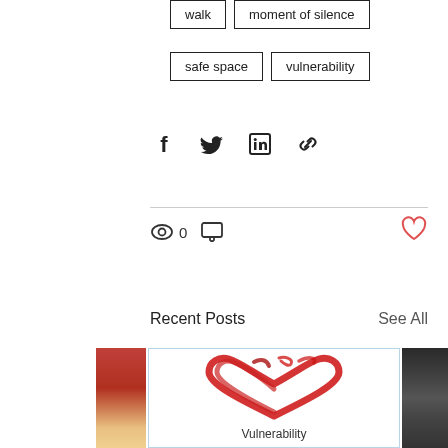walk
moment of silence
safe space
vulnerability
Share via Facebook, Twitter, LinkedIn, Link icons
0 views, 0 comments, heart/like button
Recent Posts
See All
[Figure (photo): Left side partial red/orange image (phone or red object)]
[Figure (illustration): Red brush-stroke heart illustration on white background]
Vulnerability
[Figure (photo): Right side partial image of laptop keyboard]